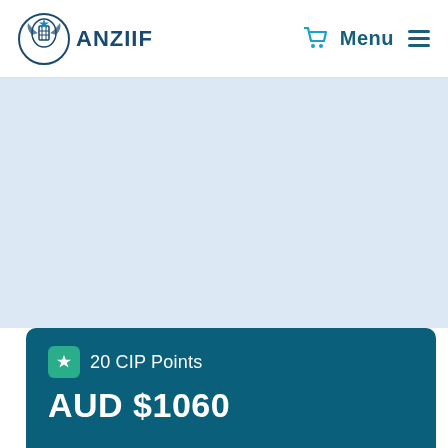ANZIIF — Menu
[Figure (screenshot): ANZIIF website header with logo, cart icon, and Menu navigation]
20 CIP Points
AUD $1060